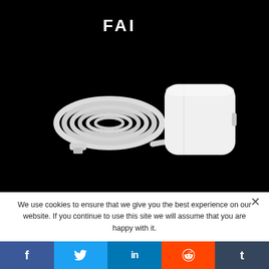[Figure (photo): Product photo on black background showing a coiled USB-C cable (white, long) and a white square USB power adapter/charger brick, with partial text at top (partially visible letters resembling 'FAI' or similar)]
We use cookies to ensure that we give you the best experience on our website. If you continue to use this site we will assume that you are happy with it.
f
y
in
reddit icon
t